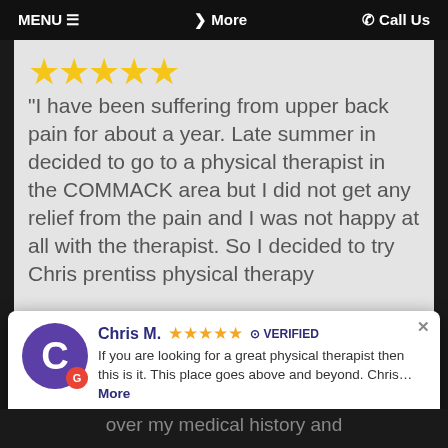MENU ☰   ❯ More   ✆ Call Us
[Figure (other): Five gold stars rating display]
"I have been suffering from upper back pain for about a year. Late summer in decided to go to a physical therapist in the COMMACK area but I did not get any relief from the pain and I was not happy at all with the therapist. So I decided to try Chris prentiss physical therapy
Chris M. ★★★★★ ✅ VERIFIED
If you are looking for a great physical therapist then this is it. This place goes above and beyond. Chris... More
over my medical history and